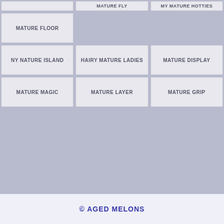MATURE FLY
MY MATURE HOTTIES
MATURE FLOOR
NY NATURE ISLAND
HAIRY MATURE LADIES
MATURE DISPLAY
MATURE MAGIC
MATURE LAYER
MATURE GRIP
© AGED MELONS